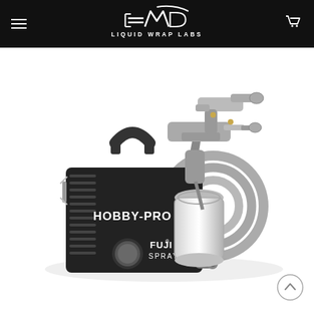LIQUID WRAP LABS
[Figure (photo): Fuji Spray Hobby-Pro 2 HVLP turbine spray system with black turbine unit labeled HOBBY-PRO2 and FUJI SPRAY, attached spray gun with chrome cup, and coiled hose]